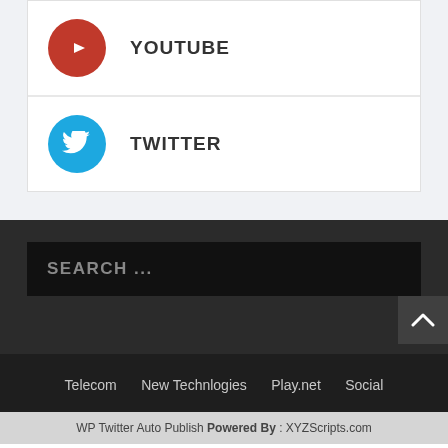[Figure (logo): YouTube icon - red circle with white play button]
YOUTUBE
[Figure (logo): Twitter icon - blue circle with white bird]
TWITTER
SEARCH ...
[Figure (other): Back to top arrow button]
Telecom
New Technlogies
Play.net
Social
WP Twitter Auto Publish Powered By : XYZScripts.com